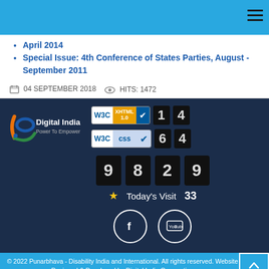April 2014
Special Issue: 4th Conference of States Parties, August - September 2011
04 SEPTEMBER 2018   HITS: 1472
[Figure (logo): Digital India Power To Empower logo with W3C XHTML 1.0 and CSS validation badges and counter digits 1 4 / 6 4, visitor counter 9829, Today's Visit 33, Facebook and YouTube icons]
© 2022 Punarbhava - Disability India and International. All rights reserved. Website Designed & Developed by Digital India Corporation